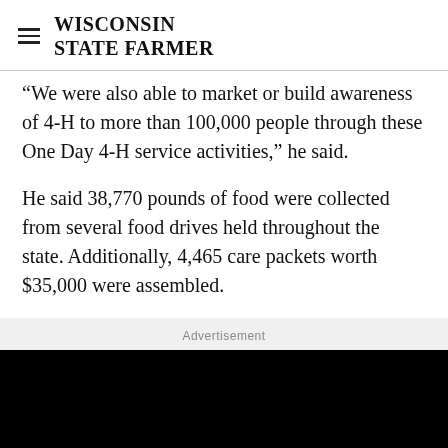WISCONSIN STATE FARMER
We were also able to market or build awareness of 4-H to more than 100,000 people through these One Day 4-H service activities,” he said.
He said 38,770 pounds of food were collected from several food drives held throughout the state. Additionally, 4,465 care packets worth $35,000 were assembled.
Advertisement
[Figure (other): Black advertisement banner area]